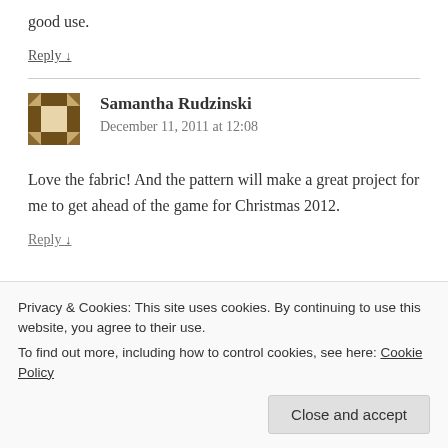good use.
Reply ↓
Samantha Rudzinski
December 11, 2011 at 12:08
Love the fabric! And the pattern will make a great project for me to get ahead of the game for Christmas 2012.
Reply ↓
Privacy & Cookies: This site uses cookies. By continuing to use this website, you agree to their use.
To find out more, including how to control cookies, see here: Cookie Policy
Close and accept